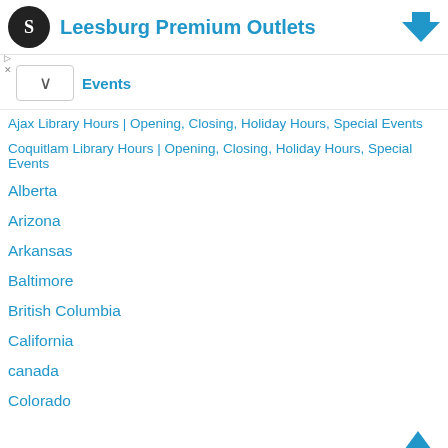Leesburg Premium Outlets
Events
Ajax Library Hours | Opening, Closing, Holiday Hours, Special Events
Coquitlam Library Hours | Opening, Closing, Holiday Hours, Special Events
Alberta
Arizona
Arkansas
Baltimore
British Columbia
California
canada
Colorado